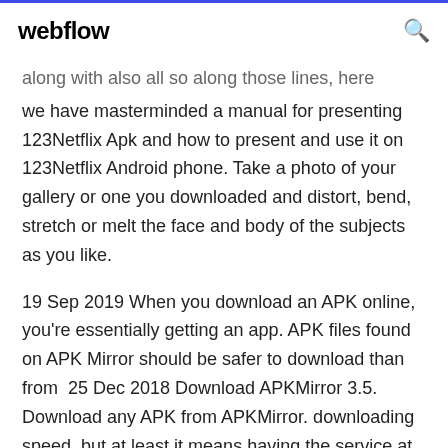webflow
along with also all so along those lines, here we have masterminded a manual for presenting 123Netflix Apk and how to present and use it on 123Netflix Android phone. Take a photo of your gallery or one you downloaded and distort, bend, stretch or melt the face and body of the subjects as you like.
19 Sep 2019 When you download an APK online, you're essentially getting an app. APK files found on APK Mirror should be safer to download than from  25 Dec 2018 Download APKMirror 3.5. Download any APK from APKMirror. downloading speed, but at least it means having the service at the tip of your  19